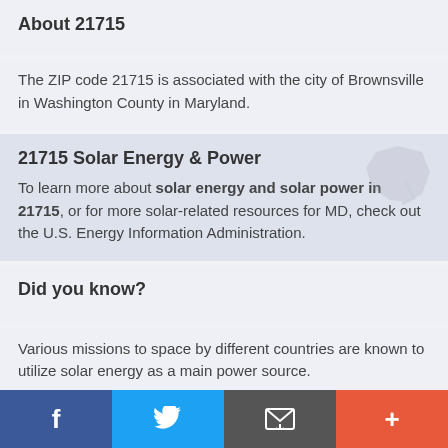About 21715
The ZIP code 21715 is associated with the city of Brownsville in Washington County in Maryland.
21715 Solar Energy & Power
To learn more about solar energy and solar power in 21715, or for more solar-related resources for MD, check out the U.S. Energy Information Administration.
Did you know?
Various missions to space by different countries are known to utilize solar energy as a main power source.
More ZIP Codes in MD
Search by ZIP